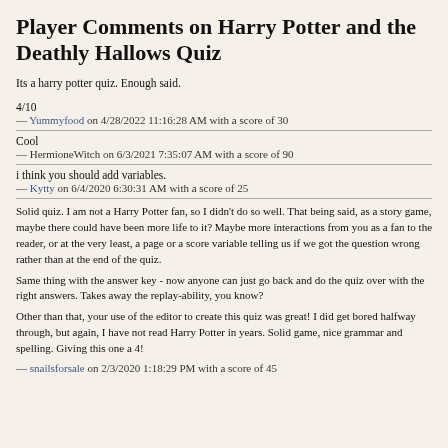Player Comments on Harry Potter and the Deathly Hallows Quiz
Its a harry potter quiz. Enough said.
4/10
— Yummyfood on 4/28/2022 11:16:28 AM with a score of 30
Cool
— HermioneWitch on 6/3/2021 7:35:07 AM with a score of 90
i think you should add variables.
— Kytty on 6/4/2020 6:30:31 AM with a score of 25
Solid quiz. I am not a Harry Potter fan, so I didn't do so well. That being said, as a story game, maybe there could have been more life to it? Maybe more interactions from you as a fan to the reader, or at the very least, a page or a score variable telling us if we got the question wrong rather than at the end of the quiz.
Same thing with the answer key - now anyone can just go back and do the quiz over with the right answers. Takes away the replay-ability, you know?
Other than that, your use of the editor to create this quiz was great! I did get bored halfway through, but again, I have not read Harry Potter in years. Solid game, nice grammar and spelling. Giving this one a 4!
— snailsforsale on 2/3/2020 1:18:29 PM with a score of 45